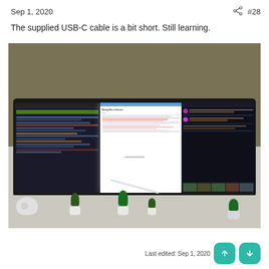Sep 1, 2020  #28
The supplied USB-C cable is a bit short. Still learning.
[Figure (photo): Wide ultrawide monitor on a white desk showing multiple application windows (code editor on left, document in center, dark app on right), with small potted plants and a white whale figure on the desk below]
Last edited: Sep 1, 2020